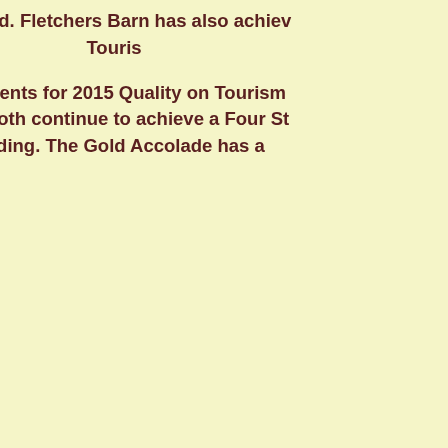size bed. Fletchers Barn has also achieved a Gold Accolade for Quality on Tourism. Comments for 2015 Quality on Tourism: Barn both continue to achieve a Four Star banding. The Gold Accolade has a